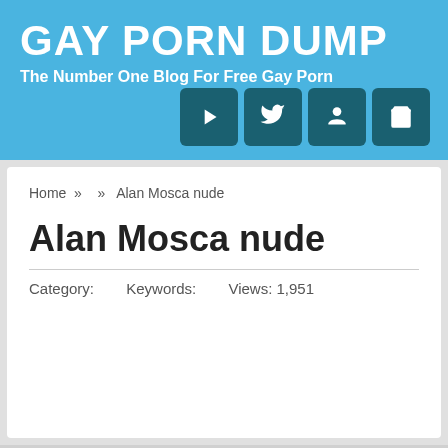GAY PORN DUMP
The Number One Blog For Free Gay Porn
Home » » Alan Mosca nude
Alan Mosca nude
Category:   Keywords:   Views: 1,951